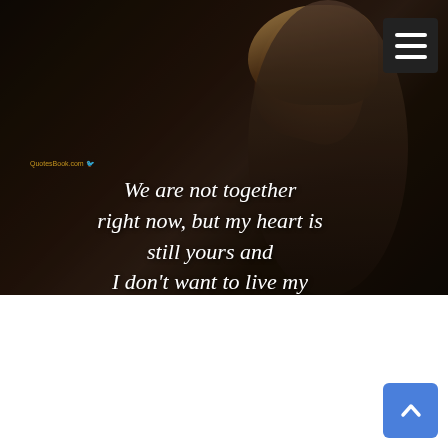[Figure (photo): Dark moody photo of a person looking down with chin tucked, with overlaid italic script quote text reading: 'We are not together right now, but my heart is still yours and I don't want to live my life without you,' with a small QuotesBook.com watermark]
14)The scary thing about distance is you don't know whether they'll miss you or forget